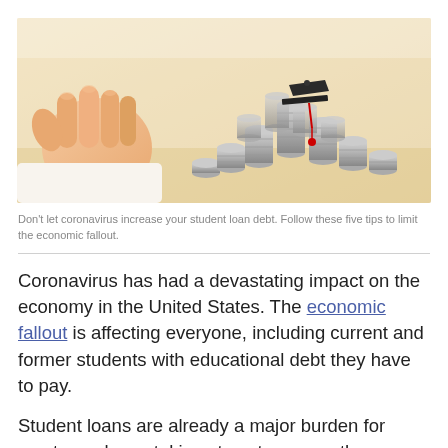[Figure (photo): A hand holding a miniature black graduation cap with red tassel, placed atop a growing stack of silver coins arranged in increasing heights, on a warm-toned wooden surface.]
Don't let coronavirus increase your student loan debt. Follow these five tips to limit the economic fallout.
Coronavirus has had a devastating impact on the economy in the United States. The economic fallout is affecting everyone, including current and former students with educational debt they have to pay.
Student loans are already a major burden for most people, so taking steps to ensure the pandemic